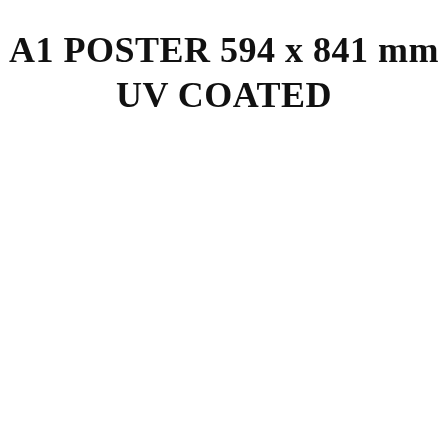A1 POSTER 594 x 841 mm
UV COATED